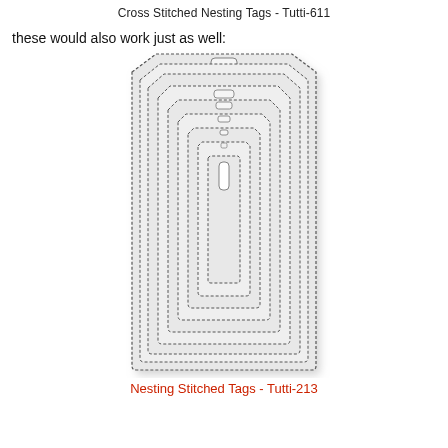Cross Stitched Nesting Tags - Tutti-611
these would also work just as well:
[Figure (illustration): Nesting stitched tags die set showing multiple concentric tag shapes with dashed stitch borders, each nested inside the other, ranging from large to small. The tags have clipped top corners and a small rectangular hole at top center of each. The overall shape is portrait/rectangular with rounded-chamfered top corners. Shown in light grey tones with dark dashed outlines.]
Nesting Stitched Tags - Tutti-213